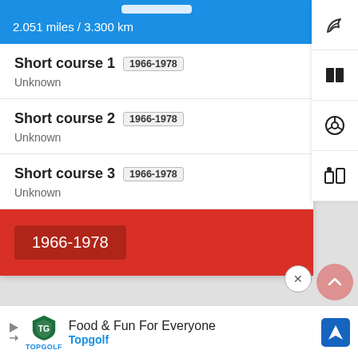2.051 miles / 3.300 km
Short course 1  1966-1978
Unknown
Short course 2  1966-1978
Unknown
Short course 3  1966-1978
Unknown
1966-1978
[Figure (screenshot): Mobile app screenshot showing racing circuit course list with short courses and year filter]
Food & Fun For Everyone
Topgolf